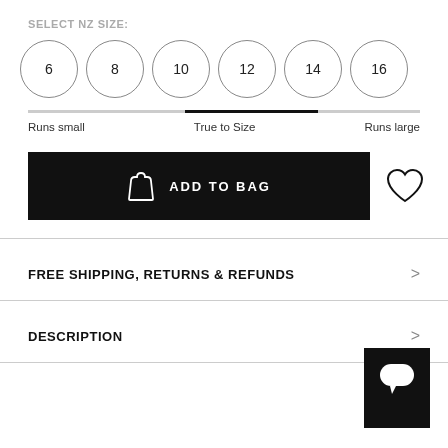SELECT NZ SIZE:
[Figure (other): Six circular size selector buttons labeled 6, 8, 10, 12, 14, 16]
[Figure (infographic): Fit scale bar with indicator between Runs small, True to Size, and Runs large]
[Figure (other): Black ADD TO BAG button with shopping bag icon]
[Figure (other): Heart/wishlist icon]
FREE SHIPPING, RETURNS & REFUNDS
DESCRIPTION
[Figure (other): Black chat widget button with rounded rectangle speech bubble icon]